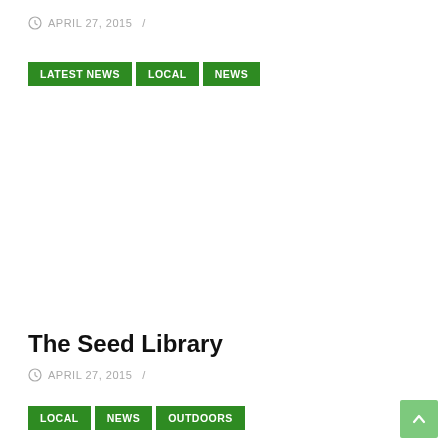APRIL 27, 2015  /
LATEST NEWS  LOCAL  NEWS
The Seed Library
APRIL 27, 2015  /
LOCAL  NEWS  OUTDOORS